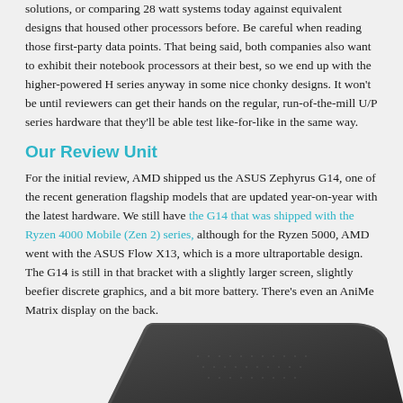solutions, or comparing 28 watt systems today against equivalent designs that housed other processors before. Be careful when reading those first-party data points. That being said, both companies also want to exhibit their notebook processors at their best, so we end up with the higher-powered H series anyway in some nice chonky designs. It won't be until reviewers can get their hands on the regular, run-of-the-mill U/P series hardware that they'll be able test like-for-like in the same way.
Our Review Unit
For the initial review, AMD shipped us the ASUS Zephyrus G14, one of the recent generation flagship models that are updated year-on-year with the latest hardware. We still have the G14 that was shipped with the Ryzen 4000 Mobile (Zen 2) series, although for the Ryzen 5000, AMD went with the ASUS Flow X13, which is a more ultraportable design. The G14 is still in that bracket with a slightly larger screen, slightly beefier discrete graphics, and a bit more battery. There's even an AniMe Matrix display on the back.
[Figure (photo): Partial view of the ASUS Zephyrus G14 laptop, showing the top/back of the device with its dark gray AniMe Matrix lid, cropped at the bottom of the page.]